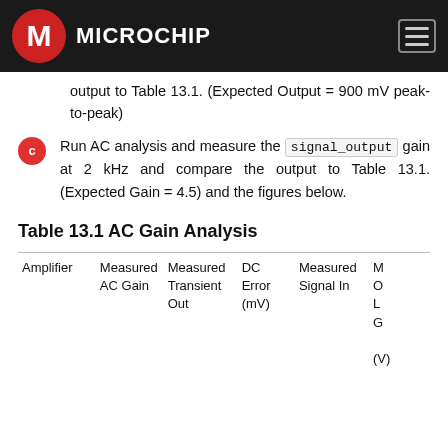Microchip
output to Table 13.1. (Expected Output = 900 mV peak-to-peak)
Run AC analysis and measure the signal_output gain at 2 kHz and compare the output to Table 13.1. (Expected Gain = 4.5) and the figures below.
Table 13.1 AC Gain Analysis
| Amplifier | Measured AC Gain | Measured Transient Out | DC Error (mV) | Measured Signal In | M O L G (V) |
| --- | --- | --- | --- | --- | --- |